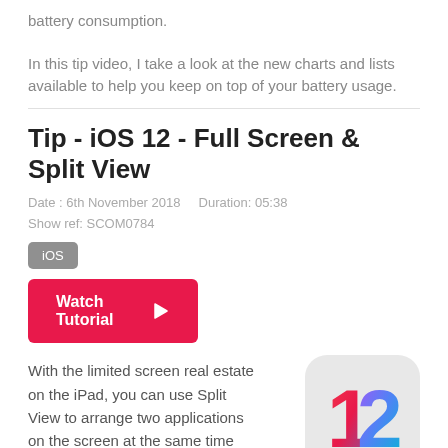battery consumption.
In this tip video, I take a look at the new charts and lists available to help you keep on top of your battery usage.
Tip - iOS 12 - Full Screen & Split View
Date : 6th November 2018   Duration: 05:38
Show ref: SCOM0784
iOS
Watch Tutorial
With the limited screen real estate on the iPad, you can use Split View to arrange two applications on the screen at the same time
[Figure (logo): iOS 12 logo — rounded square with a colorful gradient '12' numeral]